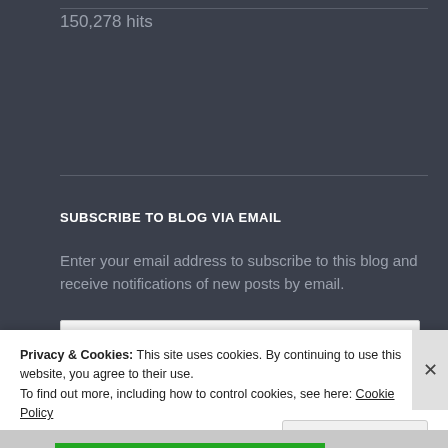150,278 hits
SUBSCRIBE TO BLOG VIA EMAIL
Enter your email address to subscribe to this blog and receive notifications of new posts by email.
Email Address
Subscribe
Privacy & Cookies: This site uses cookies. By continuing to use this website, you agree to their use.
To find out more, including how to control cookies, see here: Cookie Policy
Close and accept